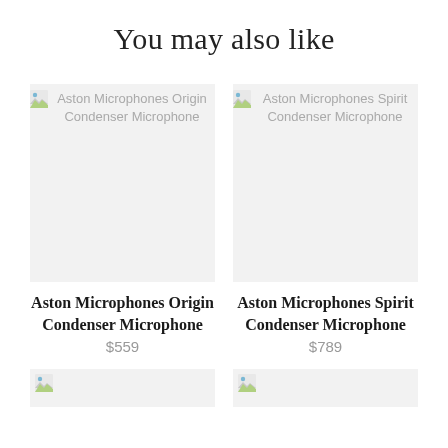You may also like
[Figure (screenshot): Product image placeholder for Aston Microphones Origin Condenser Microphone, shown as broken image icon with alt text]
Aston Microphones Origin Condenser Microphone
$559
[Figure (screenshot): Product image placeholder for Aston Microphones Spirit Condenser Microphone, shown as broken image icon with alt text]
Aston Microphones Spirit Condenser Microphone
$789
[Figure (screenshot): Partial product image placeholder at bottom left, cut off]
[Figure (screenshot): Partial product image placeholder at bottom right, cut off]